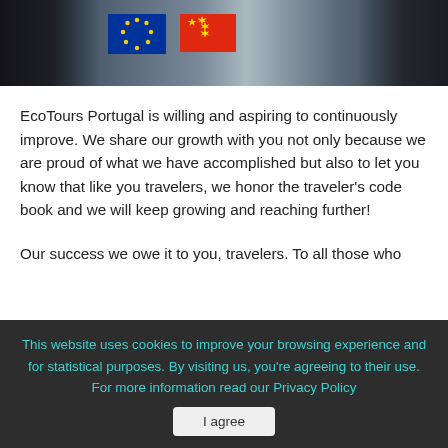[Figure (photo): Photo of people at a meeting table with EU and Chinese flags visible, partially cropped.]
EcoTours Portugal is willing and aspiring to continuously improve. We share our growth with you not only because we are proud of what we have accomplished but also to let you know that like you travelers, we honor the traveler's code book and we will keep growing and reaching further!
Our success we owe it to you, travelers. To all those who
This website uses cookies to improve your browsing experience and for statistical purposes. By visiting us, you're agreeing to their use.
For more information read our Privacy Policy
I agree